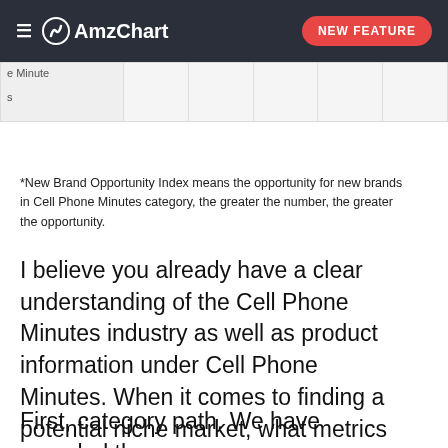≡ AmzChart  NEW FEATURE
| e Minutes |  |  |  |  |  |
| s |  |  |  |  |  |
*New Brand Opportunity Index means the opportunity for new brands in Cell Phone Minutes category, the greater the number, the greater the opportunity.
I believe you already have a clear understanding of the Cell Phone Minutes industry as well as product information under Cell Phone Minutes. When it comes to finding a potential niche market, what metrics are worthy of our attention?
First, category path. We have revealed the